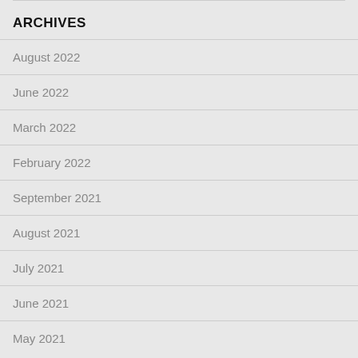ARCHIVES
August 2022
June 2022
March 2022
February 2022
September 2021
August 2021
July 2021
June 2021
May 2021